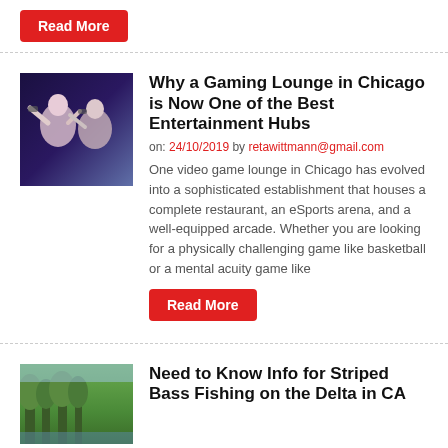Read More
Why a Gaming Lounge in Chicago is Now One of the Best Entertainment Hubs
on: 24/10/2019 by retawittmann@gmail.com
One video game lounge in Chicago has evolved into a sophisticated establishment that houses a complete restaurant, an eSports arena, and a well-equipped arcade. Whether you are looking for a physically challenging game like basketball or a mental acuity game like
Read More
Need to Know Info for Striped Bass Fishing on the Delta in CA